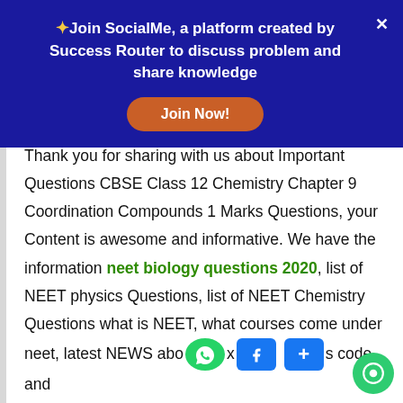✦Join SocialMe, a platform created by Success Router to discuss problem and share knowledge
Thank you for sharing with us about Important Questions CBSE Class 12 Chemistry Chapter 9 Coordination Compounds 1 Marks Questions, your Content is awesome and informative. We have the information neet biology questions 2020, list of NEET physics Questions, list of NEET Chemistry Questions what is NEET, what courses come under neet, latest NEWS about x, s code and